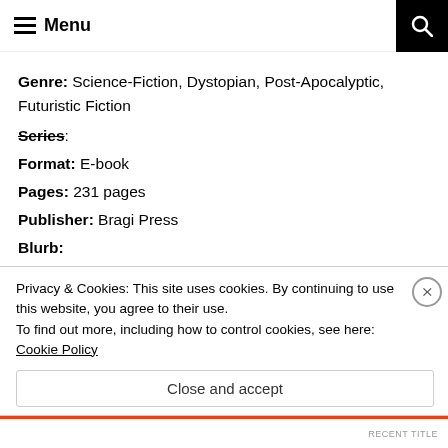Menu
Genre: Science-Fiction, Dystopian, Post-Apocalyptic, Futuristic Fiction
Series:
Format: E-book
Pages: 231 pages
Publisher: Bragi Press
Blurb:
Three timelines. One dark future...
A new form of energy has poisoned the earth,
Privacy & Cookies: This site uses cookies. By continuing to use this website, you agree to their use. To find out more, including how to control cookies, see here: Cookie Policy
Close and accept